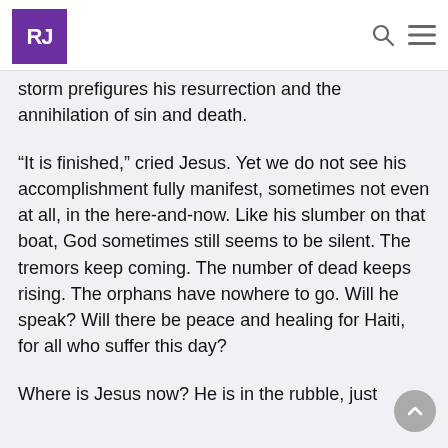RJ [logo] [search icon] [menu icon]
storm prefigures his resurrection and the annihilation of sin and death.
“It is finished,” cried Jesus. Yet we do not see his accomplishment fully manifest, sometimes not even at all, in the here-and-now. Like his slumber on that boat, God sometimes still seems to be silent. The tremors keep coming. The number of dead keeps rising. The orphans have nowhere to go. Will he speak? Will there be peace and healing for Haiti, for all who suffer this day?
Where is Jesus now? He is in the rubble, just